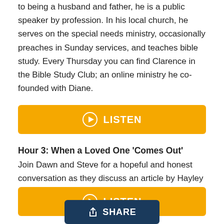to being a husband and father, he is a public speaker by profession. In his local church, he serves on the special needs ministry, occasionally preaches in Sunday services, and teaches bible study. Every Thursday you can find Clarence in the Bible Study Club; an online ministry he co-founded with Diane.
[Figure (other): Orange LISTEN button with play icon]
Hour 3: When a Loved One 'Comes Out'
Join Dawn and Steve for a hopeful and honest conversation as they discuss an article by Hayley Mullins called "When a Loved One 'Comes Out.'"
[Figure (other): Orange LISTEN button with play icon]
[Figure (other): Dark blue SHARE button with share icon]